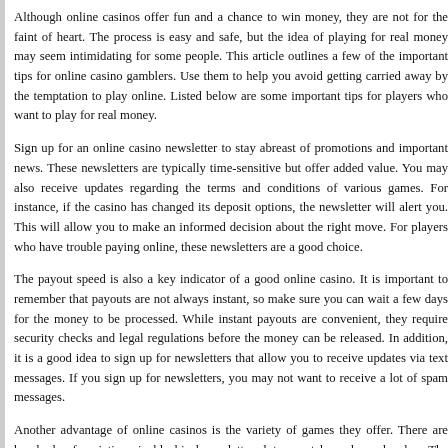Although online casinos offer fun and a chance to win money, they are not for the faint of heart. The process is easy and safe, but the idea of playing for real money may seem intimidating for some people. This article outlines a few of the most important tips for online casino gamblers. Use them to help you avoid getting carried away by the temptation to play online. Listed below are some important tips for players who want to play for real money.
Sign up for an online casino newsletter to stay abreast of promotions and other important news. These newsletters are typically time-sensitive but offer a lot of added value. You may also receive updates regarding the terms and conditions of various games. For instance, if the casino has changed its deposit options, the newsletter will alert you. This will allow you to make an informed decision about making the right move. For players who have trouble paying online, these newsletters are a good choice.
The payout speed is also a key indicator of a good online casino. It is important to remember that payouts are not always instant, so make sure you can wait a few days for the money to be processed. While instant payouts are convenient, they require security checks and legal regulations before the money can be released. In addition, it is a good idea to sign up for newsletters that allow you to receive updates via text messages. If you sign up for newsletters, you may not want to receive a lot of spam messages.
Another advantage of online casinos is the variety of games they offer. There are hundreds of variations in blackjack, roulette, slots, scratch cards, and poker. The selection is wide and varied. Players can also play games for free to gain experience before playing them for real money. And because online casinos are accessible, they are also more convenient than their offline counterparts.